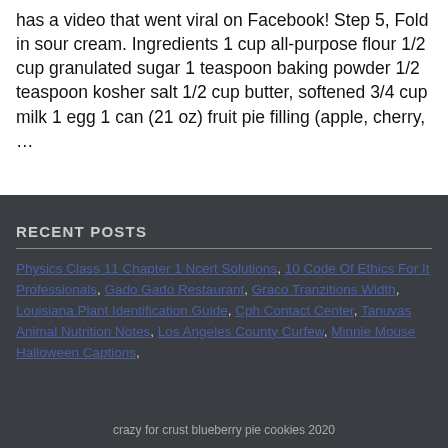has a video that went viral on Facebook! Step 5, Fold in sour cream. Ingredients 1 cup all-purpose flour 1/2 cup granulated sugar 1 teaspoon baking powder 1/2 teaspoon kosher salt 1/2 cup butter, softened 3/4 cup milk 1 egg 1 can (21 oz) fruit pie filling (apple, cherry, …
RECENT POSTS
Physics Class 11 Chapter 1 Ncert Solutions, 10 Code Of Ethics For It Professionals, Gado Gado Restaurant, Graco Tranzitions Width, Louisiana Plant Identification Guide, Cph Contact Center, Tanuvas Animal Nutrition Notes, Los Angeles County Curfew, Minnie Mouse Halloween Captions,
crazy for crust blueberry pie cookies 2020